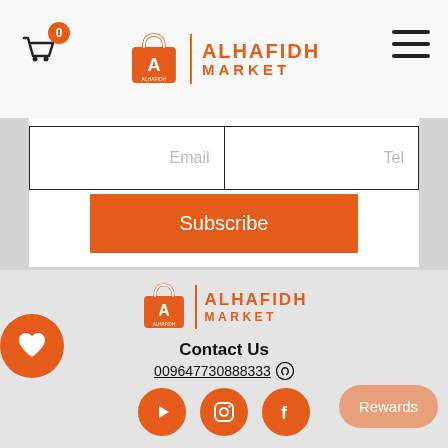ALHAFIDH MARKET
[Figure (screenshot): Email and Tel input fields with Subscribe button on a light gray card background]
[Figure (logo): Alhafidh Market logo in footer — orange shopping bag with A, vertical bar, ALHAFIDH MARKET text]
Contact Us
009647730888333
[Figure (illustration): YouTube, Instagram, and Facebook social media icons in orange circles]